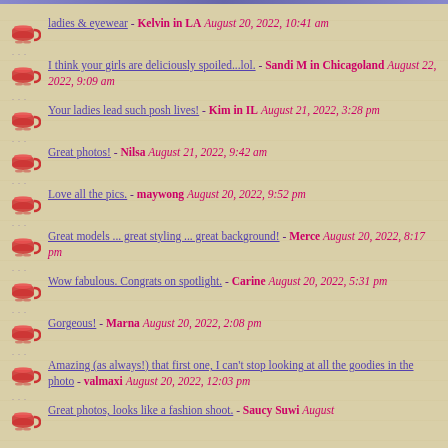ladies & eyewear - Kelvin in LA August 20, 2022, 10:41 am
I think your girls are deliciously spoiled...lol. - Sandi M in Chicagoland August 22, 2022, 9:09 am
Your ladies lead such posh lives! - Kim in IL August 21, 2022, 3:28 pm
Great photos! - Nilsa August 21, 2022, 9:42 am
Love all the pics. - maywong August 20, 2022, 9:52 pm
Great models ... great styling ... great background! - Merce August 20, 2022, 8:17 pm
Wow fabulous. Congrats on spotlight. - Carine August 20, 2022, 5:31 pm
Gorgeous! - Marna August 20, 2022, 2:08 pm
Amazing (as always!) that first one, I can't stop looking at all the goodies in the photo - valmaxi August 20, 2022, 12:03 pm
Great photos, looks like a fashion shoot. - Saucy Suwi August